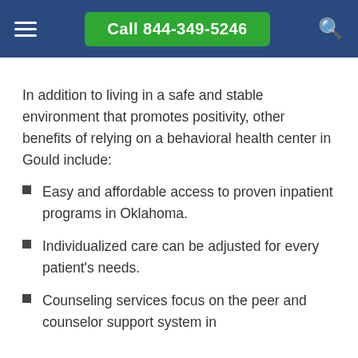Call 844-349-5246
In addition to living in a safe and stable environment that promotes positivity, other benefits of relying on a behavioral health center in Gould include:
Easy and affordable access to proven inpatient programs in Oklahoma.
Individualized care can be adjusted for every patient's needs.
Counseling services focus on the peer and counselor support system in